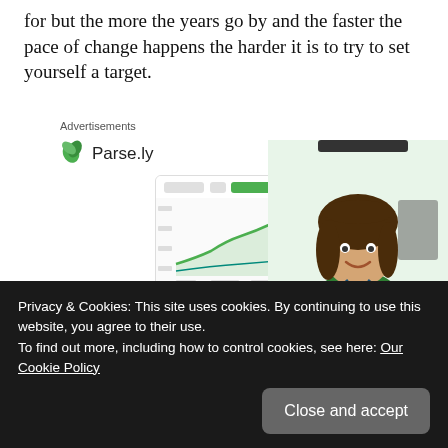for but the more the years go by and the faster the pace of change happens the harder it is to try to set yourself a target.
[Figure (infographic): Advertisement banner for Parse.ly analytics platform showing logo, a screenshot of an analytics dashboard with a green line chart, a smiling woman in a green top, and the text 'Content Analytics Made Easy']
Privacy & Cookies: This site uses cookies. By continuing to use this website, you agree to their use.
To find out more, including how to control cookies, see here: Our Cookie Policy
Close and accept